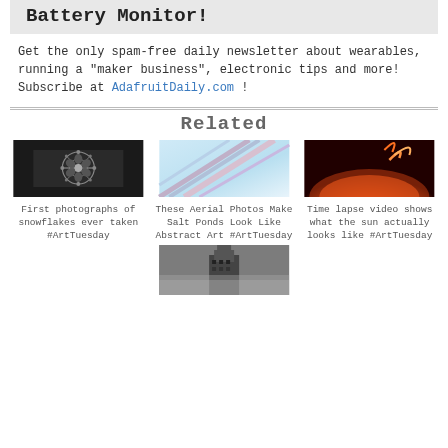Battery Monitor!
Get the only spam-free daily newsletter about wearables, running a "maker business", electronic tips and more! Subscribe at AdafruitDaily.com !
Related
[Figure (photo): Black and white snowflake macro photograph]
First photographs of snowflakes ever taken #ArtTuesday
[Figure (photo): Aerial photo of salt ponds with abstract colors]
These Aerial Photos Make Salt Ponds Look Like Abstract Art #ArtTuesday
[Figure (photo): Time lapse image of the sun with orange/red solar flares]
Time lapse video shows what the sun actually looks like #ArtTuesday
[Figure (photo): Black and white photograph of a building in fog/smoke]